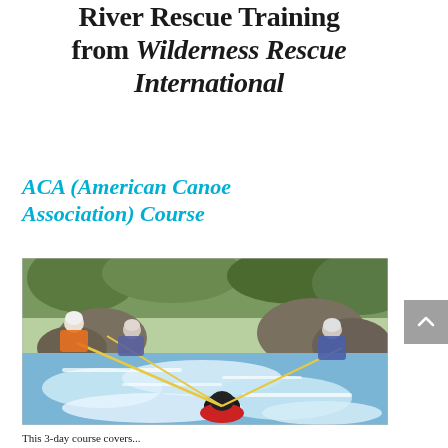River Rescue Training from Wilderness Rescue International
ACA (American Canoe Association) Course
[Figure (photo): Outdoor river rescue training scene showing four people in helmets and wetsuits/drysuits on rocky rapids. Three people on rocks hold a rope while a fourth person in black helmet and red jacket is in the white water rapids below, with the rope extended across the water.]
This 3-day course covers...